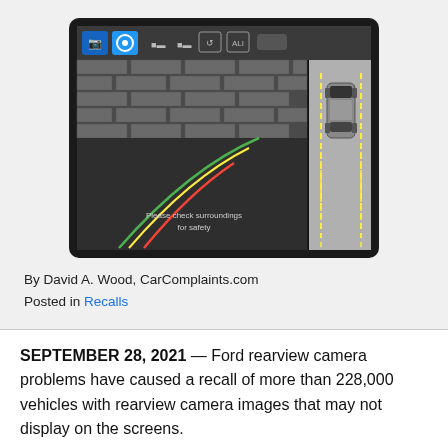[Figure (screenshot): Screenshot of a car's 360-degree rearview camera display on an infotainment screen, showing parking guidelines, a top-down bird's-eye view of a vehicle, and the text 'Please check surroundings for safety'.]
By David A. Wood, CarComplaints.com
Posted in Recalls
SEPTEMBER 28, 2021 — Ford rearview camera problems have caused a recall of more than 228,000 vehicles with rearview camera images that may not display on the screens.
The 2020-2021 Ford Explorer, Lincoln Corsair and Lincoln Aviator vehicles are equipped with 360-degree cameras with video outputs that